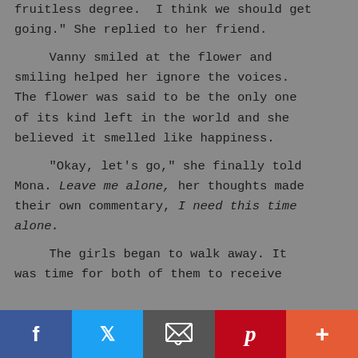fruitless degree. I think we should get going." She replied to her friend.

    Vanny smiled at the flower and smiling helped her ignore the voices. The flower was said to be the only one of its kind left in the world and she believed it smelled like happiness.

    "Okay, let's go," she finally told Mona. Leave me alone, her thoughts made their own commentary, I need this time alone.

    The girls began to walk away. It was time for both of them to receive